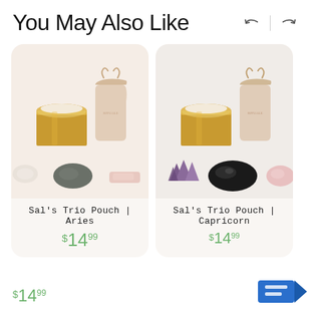You May Also Like
[Figure (photo): Product card: Sal's Trio Pouch | Aries — gold tin candle, linen drawstring pouch, three crystals (white, dark grey, pink)]
Sal's Trio Pouch | Aries
$14.99
[Figure (photo): Product card: Sal's Trio Pouch | Capricorn — gold tin candle, linen drawstring pouch, three crystals (amethyst, black, pink rose quartz)]
Sal's Trio Pouch | Capricorn
$14.99 (partially visible)
$14.99